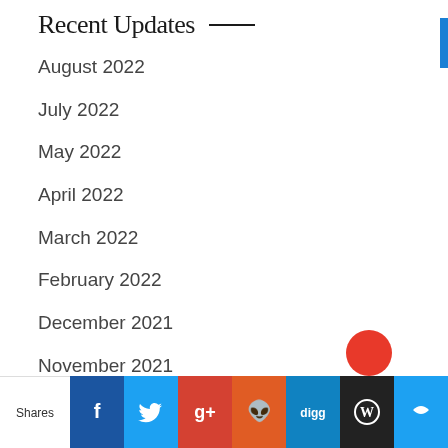Recent Updates
August 2022
July 2022
May 2022
April 2022
March 2022
February 2022
December 2021
November 2021
October 2021
September 2021
Shares | Facebook | Twitter | Google+ | Reddit | Digg | WordPress | Sumo